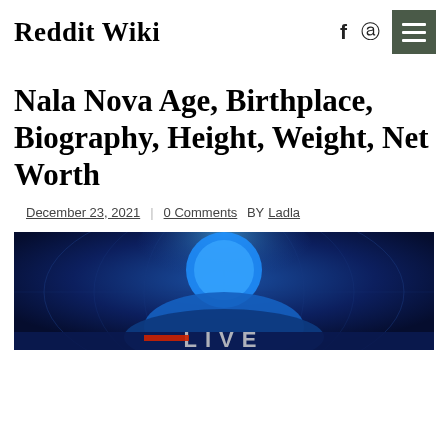Reddit Wiki
Nala Nova Age, Birthplace, Biography, Height, Weight, Net Worth
December 23, 2021 | 0 Comments BY Ladla
[Figure (photo): Photo of Nala Nova with a dark blue background showing the word LIVE at the bottom, appears to be a news broadcast setting]